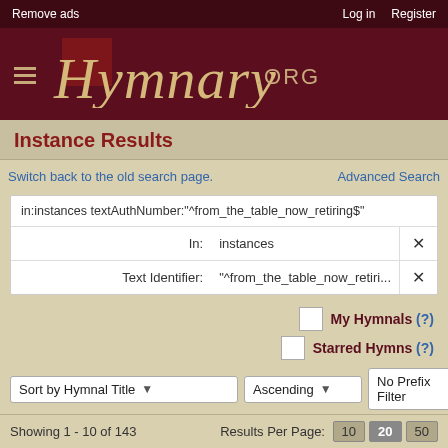Remove ads   Log in   Register
[Figure (logo): Hymnary.org logo with hamburger menu icon on dark red background]
Instance Results
Switch back to the old search page.    Advanced Search
in:instances textAuthNumber:"^from_the_table_now_retiring$"
| Field | Value | Action |
| --- | --- | --- |
| In: | instances | ✕ |
| Text Identifier: | "^from_the_table_now_retiri... | ✕ |
My Hymnals (?)
Starred Hymns (?)
Sort by Hymnal Title  ▾   Ascending  ▾   No Prefix Filter  ▾
Showing 1 - 10 of 143    Results Per Page:  10  20  50